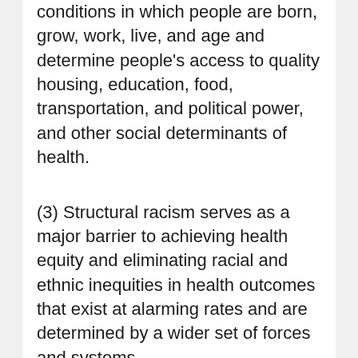conditions in which people are born, grow, work, live, and age and determine people's access to quality housing, education, food, transportation, and political power, and other social determinants of health.
(3) Structural racism serves as a major barrier to achieving health equity and eliminating racial and ethnic inequities in health outcomes that exist at alarming rates and are determined by a wider set of forces and systems.
(4) Due to structural racism in the United States, people of color are more likely to